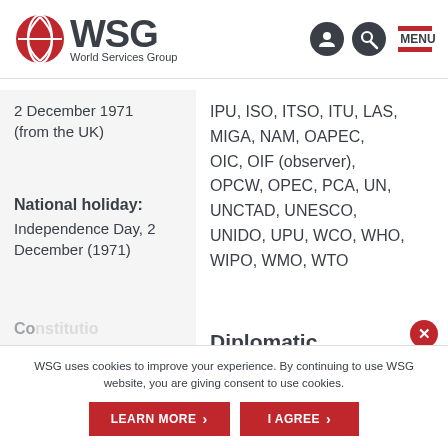[Figure (logo): WSG World Services Group logo with red globe icon and dark text]
2 December 1971
(from the UK)
IPU, ISO, ITSO, ITU, LAS, MIGA, NAM, OAPEC, OIC, OIF (observer), OPCW, OPEC, PCA, UN, UNCTAD, UNESCO, UNIDO, UPU, WCO, WHO, WIPO, WMO, WTO
National holiday:
Independence Day, 2 December (1971)
Diplomatic
WSG uses cookies to improve your experience. By continuing to use WSG website, you are giving consent to use cookies.